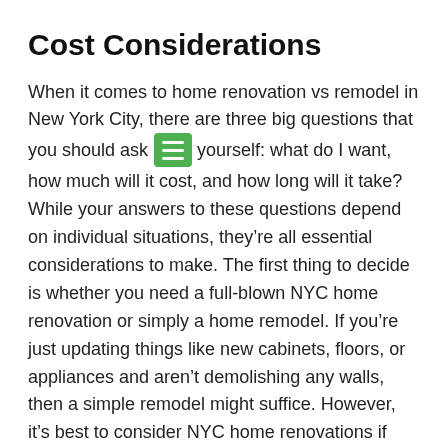Cost Considerations
When it comes to home renovation vs remodel in New York City, there are three big questions that you should ask yourself: what do I want, how much will it cost, and how long will it take? While your answers to these questions depend on individual situations, they’re all essential considerations to make. The first thing to decide is whether you need a full-blown NYC home renovation or simply a home remodel. If you’re just updating things like new cabinets, floors, or appliances and aren’t demolishing any walls, then a simple remodel might suffice. However, it’s best to consider NYC home renovations if you have larger changes planned for your property—like expanding an old kitchen into a new room.
Property Concerns